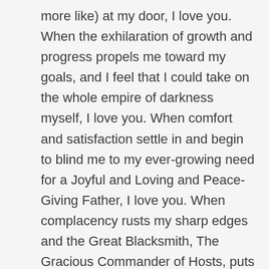more like) at my door, I love you. When the exhilaration of growth and progress propels me toward my goals, and I feel that I could take on the whole empire of darkness myself, I love you. When comfort and satisfaction settle in and begin to blind me to my ever-growing need for a Joyful and Loving and Peace-Giving Father, I love you. When complacency rusts my sharp edges and the Great Blacksmith, The Gracious Commander of Hosts, puts me to the grindstone and into the furnace to make new what has been broken, I love you.

You love me as I am, yet you will never stop